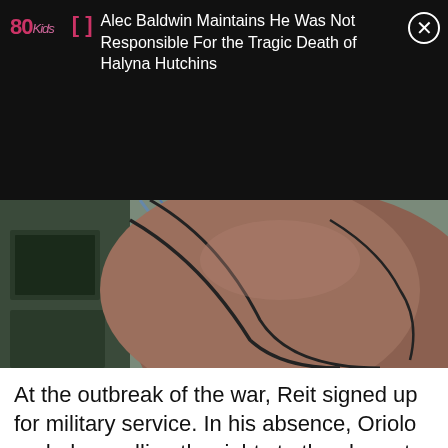80Kids
Alec Baldwin Maintains He Was Not Responsible For the Tragic Death of Halyna Hutchins
[Figure (illustration): Close-up of an animated cartoon character, showing a rounded brownish figure with dark outlines against a muted background with geometric shapes in teal/green tones.]
At the outbreak of the war, Reit signed up for military service. In his absence, Oriolo ended up selling the rights to the character to Paramount Pictures' Famous Studios, who produced the first Casper cartoon, The Friendly Ghost, in 1945.